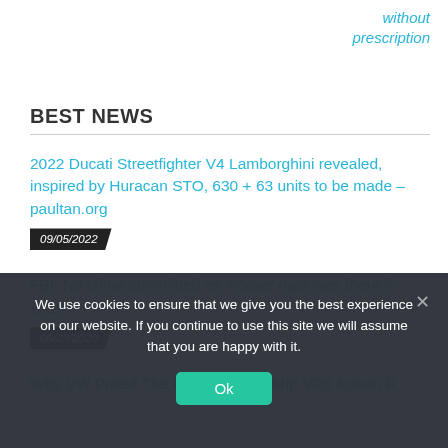without prescription
BEST NEWS
2022 Ducati Streetfighter V4 Lamborghini revealed, inspired by Huracan STO, 630 + 63 units to be made – paultan.org
09/05/2022
FBI: No crime committed as 'noose' rope was there in 2019
06/23/2020
Why VW Pulled The Plug On A 400bhp VR6 Arteon R
We use cookies to ensure that we give you the best experience on our website. If you continue to use this site we will assume that you are happy with it.